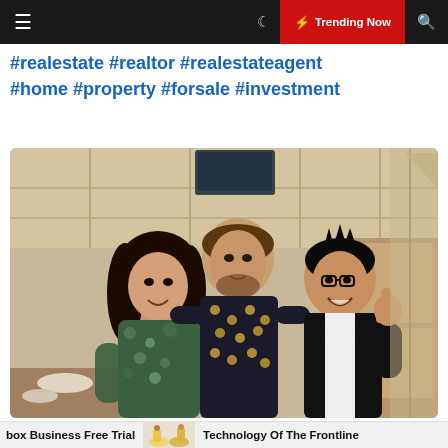☰  🌙  ⚡ Trending Now  🔍
#realestate #realtor #realestateagent #home #property #forsale #investment
[Figure (photo): Three people posing together in what appears to be a Japanese restaurant. A woman in a floral green top on the left, a tall man in a patterned shirt in the center, and a shorter man in a black blazer giving a thumbs-up on the right.]
7:03 PM · May 5, 2021
box Business Free Trial    Technology Of The Frontline